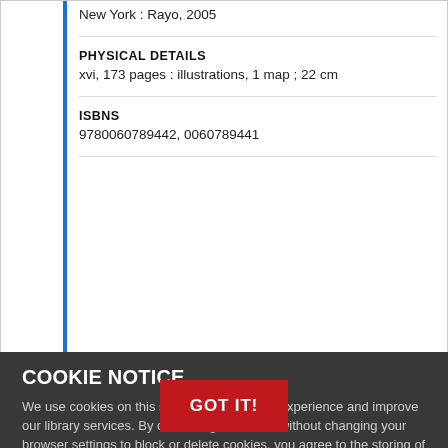New York : Rayo, 2005
PHYSICAL DETAILS
xvi, 173 pages : illustrations, 1 map ; 22 cm
ISBNS
9780060789442, 0060789441
OCLC
61622167
Subjects
Immigrants – Cri... n Border Region
Immigrants – Cri... Mexican-American Border Region
COOKIE NOTICE
We use cookies on this site to enhance your experience and improve our library services. By continuing to browse without changing your browser settings to block or delete cookies, you agree to the storing of cookies and related technologies on your device. UW–Madison Privacy Notice
GOT IT!